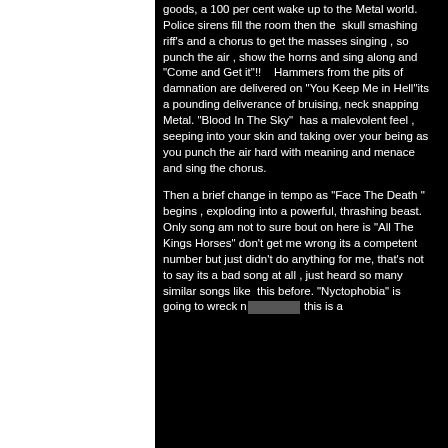goods, a 100 per cent wake up to the Metal world. Police sirens fill the room then the skull smashing riff's and a chorus to get the masses singing , so punch the air , show the horns and sing along and "Come and Get it"!!   Hammers from the pits of damnation are delivered on "You Keep Me in Hell"its a pounding deliverance of bruising, neck snapping Metal. "Blood In The Sky"  has a malevolent feel , seeping into your skin and taking over your being as you punch the air hard with meaning and menace and sing the chorus.
Then a brief change in tempo as "Face The Death " begins , exploding into a powerful, thrashing beast. Only song am not to sure bout on here is "All The Kings Horses" don't get me wrong its a competent number but just didn't do anything for me, that's not to say its a bad song at all , just heard so many similar songs like  this before. "Nyctophobia" is going to wreck n[CENSORED] this is a